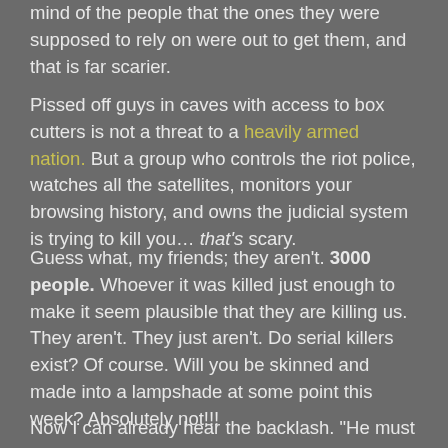mind of the people that the ones they were supposed to rely on were out to get them, and that is far scarier.
Pissed off guys in caves with access to box cutters is not a threat to a heavily armed nation. But a group who controls the riot police, watches all the satellites, monitors your browsing history, and owns the judicial system is trying to kill you... that's scary.
Guess what, my friends; they aren't. 3000 people. Whoever it was killed just enough to make it seem plausible that they are killing us. They aren't. They just aren't. Do serial killers exist? Of course. Will you be skinned and made into a lampshade at some point this week? Absolutely not!!!
Now I can already hear the backlash. "He must be